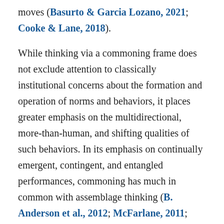moves (Basurto & Garcia Lozano, 2021; Cooke & Lane, 2018).
While thinking via a commoning frame does not exclude attention to classically institutional concerns about the formation and operation of norms and behaviors, it places greater emphasis on the multidirectional, more-than-human, and shifting qualities of such behaviors. In its emphasis on continually emergent, contingent, and entangled performances, commoning has much in common with assemblage thinking (B. Anderson et al., 2012; McFarlane, 2011; McFarlane & Anderson, 2011), though authors employing commoning generally have a more explicitly normative interest in outcomes of